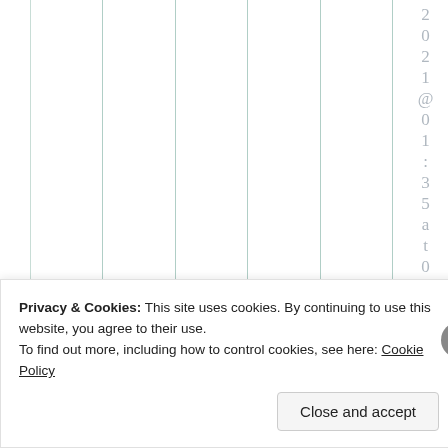[Figure (other): Partial view of a chart or table with vertical green/teal column divider lines on white background, cropped at top. Right side shows vertical text reading '2021@01:35at0' in light gray characters stacked vertically.]
Privacy & Cookies: This site uses cookies. By continuing to use this website, you agree to their use.
To find out more, including how to control cookies, see here: Cookie Policy
Close and accept